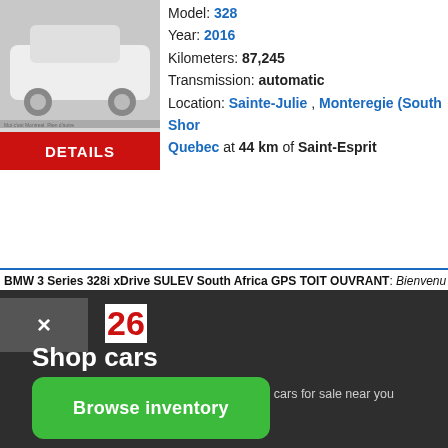[Figure (photo): White BMW 3 Series sedan photo]
DETAILS
Model: 328
Year: 2016
Kilometers: 87,245
Transmission: automatic
Location: Sainte-Julie , Monteregie (South Shore) Quebec at 44 km of Saint-Esprit
BMW 3 Series 328i xDrive SULEV South Africa GPS TOIT OUVRANT: Bienvenu 328XI 2016 Traction ...
×
26
Shop cars
Browse the new inventory of new and used cars for sale near you
Browse inventory